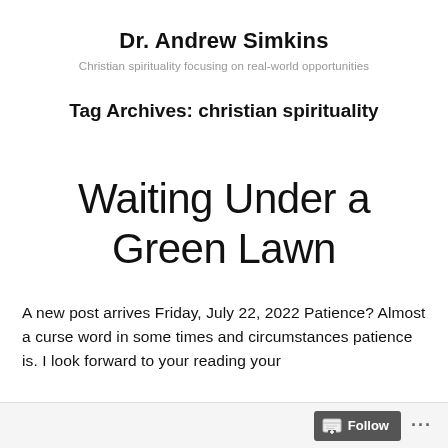Dr. Andrew Simkins
Christian spirituality focusing on real-world opportunities
Tag Archives: christian spirituality
Waiting Under a Green Lawn
A new post arrives Friday, July 22, 2022 Patience? Almost a curse word in some times and circumstances patience is. I look forward to your reading your